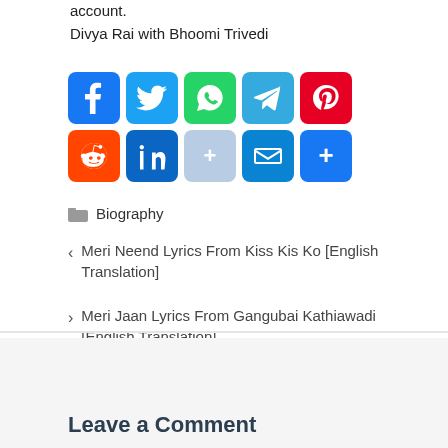account.
Divya Rai with Bhoomi Trivedi
[Figure (infographic): Social media share buttons: Facebook, Twitter, WhatsApp, Telegram, Pinterest, Reddit, LinkedIn, More (+), Email, Share (+)]
Biography
< Meri Neend Lyrics From Kiss Kis Ko [English Translation]
> Meri Jaan Lyrics From Gangubai Kathiawadi [English Translation]
Leave a Comment